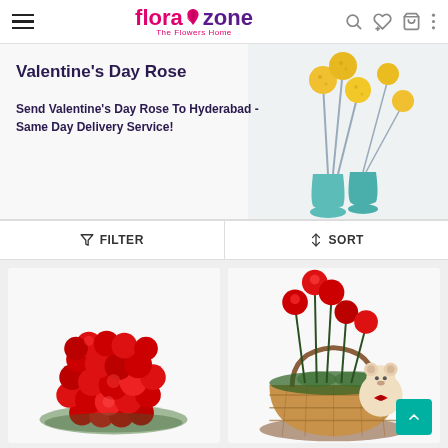florazone - The Flowers Home
[Figure (photo): Banner with yellow ball flowers in teal vases on the right, text on the left: Valentine's Day Rose - Send Valentine's Day Rose To Hyderabad - Same Day Delivery Service!]
Valentine's Day Rose
Send Valentine's Day Rose To Hyderabad - Same Day Delivery Service!
FILTER  SORT
[Figure (photo): Heart-shaped arrangement of red roses on white background]
[Figure (photo): Red roses and a white teddy bear in a wicker basket]